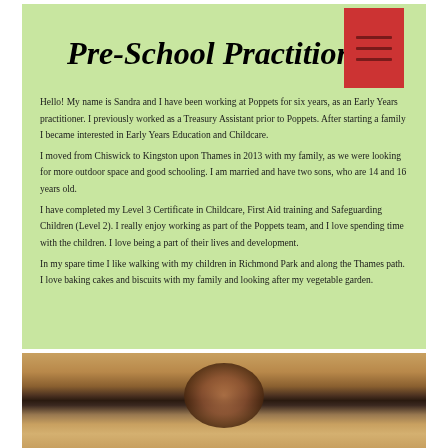Pre-School Practitioner
Hello! My name is Sandra and I have been working at Poppets for six years, as an Early Years practitioner. I previously worked as a Treasury Assistant prior to Poppets. After starting a family I became interested in Early Years Education and Childcare.
I moved from Chiswick to Kingston upon Thames in 2013 with my family, as we were looking for more outdoor space and good schooling. I am married and have two sons, who are 14 and 16 years old.
I have completed my Level 3 Certificate in Childcare, First Aid training and Safeguarding Children (Level 2). I really enjoy working as part of the Poppets team, and I love spending time with the children. I love being a part of their lives and development.
In my spare time I like walking with my children in Richmond Park and along the Thames path. I love baking cakes and biscuits with my family and looking after my vegetable garden.
[Figure (photo): Partially visible photograph of a person, showing the top of their head with dark hair against a warm yellow/golden background.]